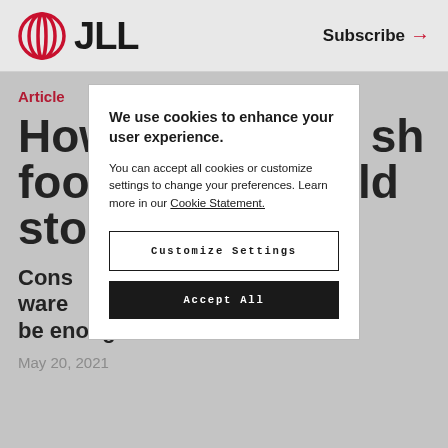JLL | Subscribe →
Article
How fresh food cold stor[age]
Construction of warehouses … not be enough to meet demand
May 20, 2021
We use cookies to enhance your user experience.

You can accept all cookies or customize settings to change your preferences. Learn more in our Cookie Statement.

[Customize Settings] [Accept All]